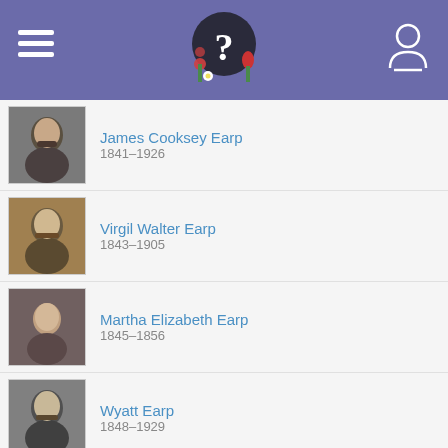Header navigation bar with hamburger menu, logo (question mark with flowers), and user icon
James Cooksey Earp
1841–1926
Virgil Walter Earp
1843–1905
Martha Elizabeth Earp
1845–1856
Wyatt Earp
1848–1929
Morgan Earp
1851–1882
Warren Baxter Earp
1855–1900
Virginia Anne Earp
1858–1861